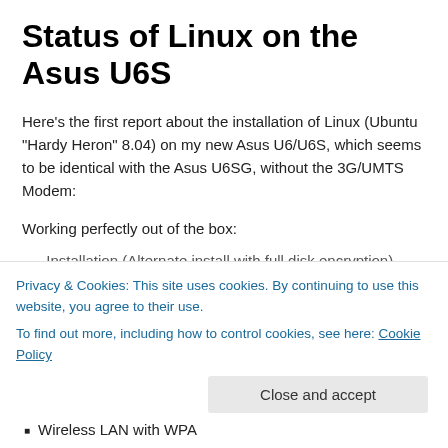Status of Linux on the Asus U6S
Here’s the first report about the installation of Linux (Ubuntu “Hardy Heron” 8.04) on my new Asus U6/U6S, which seems to be identical with the Asus U6SG, without the 3G/UMTS Modem:
Working perfectly out of the box:
Installation (Alternate install with full disk encryption)
Wireless LAN with WPA
Privacy & Cookies: This site uses cookies. By continuing to use this website, you agree to their use.
To find out more, including how to control cookies, see here: Cookie Policy